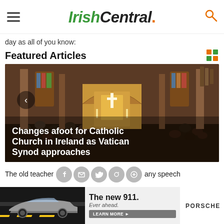IrishCentral.
day as all of you know:
Featured Articles
[Figure (photo): Interior of a large Catholic church with congregation seated in pews, ornate altar in background with stained glass windows. Overlay text: Changes afoot for Catholic Church in Ireland as Vatican Synod approaches]
Changes afoot for Catholic Church in Ireland as Vatican Synod approaches
The old teacher p e H d r any speech
[Figure (photo): Advertisement: Porsche 911 car ad. The new 911. Ever ahead. LEARN MORE button. Porsche logo.]